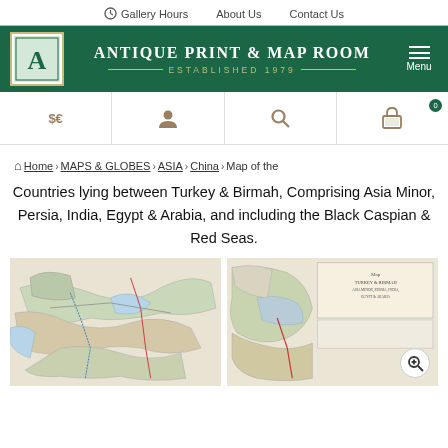Gallery Hours  About Us  Contact Us
ANTIQUE PRINT & MAP ROOM — ESTABLISHED 1979
$€ [currency] [user] [search] [cart 0]
Home › MAPS & GLOBES › ASIA › China › Map of the Countries lying between Turkey & Birmah, Comprising Asia Minor, Persia, India, Egypt & Arabia, and including the Black Caspian & Red Seas.
[Figure (map): Two antique map images showing countries between Turkey and Burma covering Asia Minor, Persia, India, Egypt and Arabia with Black, Caspian and Red Seas.]